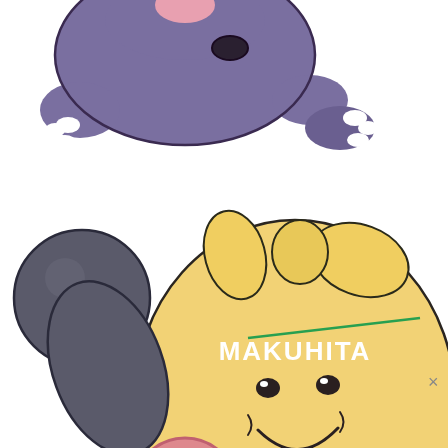[Figure (illustration): Two Pokemon illustrations on a white background. Top portion shows a partial view of a dark purple/grey quadruped Pokemon (Sableye or similar) with pink markings and white claws, cropped at the top. Below is a large illustration of Makuhita, a round yellow Fighting-type Pokemon with dark grey arms, pink circular cheek markings, and ear-like protrusions on its head. The name 'MAKUHITA' is written in white text with a green underline across its torso. A small grey 'x' close button appears in the lower right corner.]